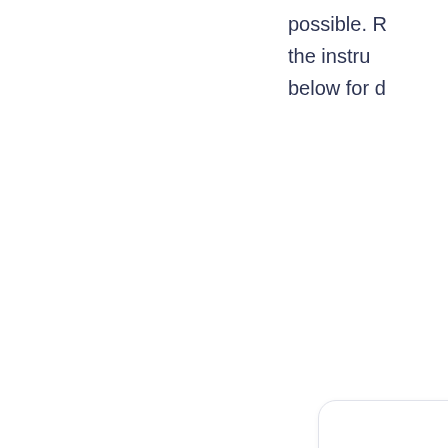possible. R the instru below for d
[Figure (other): A white rounded-corner card partially visible, containing large bold dark navy text reading 'How to buy Ethereum' stacked vertically on separate lines]